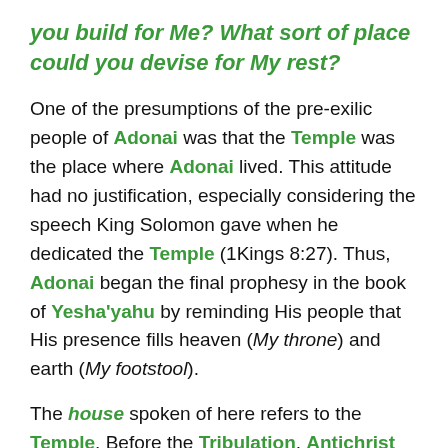you build for Me? What sort of place could you devise for My rest?
One of the presumptions of the pre-exilic people of Adonai was that the Temple was the place where Adonai lived. This attitude had no justification, especially considering the speech King Solomon gave when he dedicated the Temple (1Kings 8:27). Thus, Adonai began the final prophesy in the book of Yesha'yahu by reminding His people that His presence fills heaven (My throne) and earth (My footstool).
The house spoken of here refers to the Temple. Before the Tribulation, Antichrist will